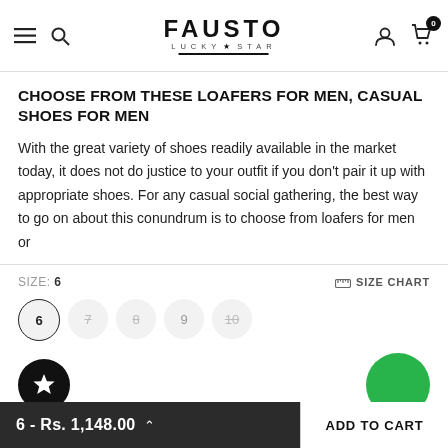FAUSTO LUCKY STAR
CHOOSE FROM THESE LOAFERS FOR MEN, CASUAL SHOES FOR MEN
With the great variety of shoes readily available in the market today, it does not do justice to your outfit if you don't pair it up with appropriate shoes. For any casual social gathering, the best way to go on about this conundrum is to choose from loafers for men or
SIZE: 6
SIZE CHART
6 - Rs. 1,148.00
ADD TO CART